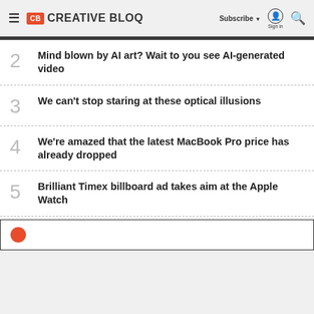CB CREATIVE BLOQ — Subscribe Sign in Search
2 Mind blown by AI art? Wait to you see AI-generated video
3 We can't stop staring at these optical illusions
4 We're amazed that the latest MacBook Pro price has already dropped
5 Brilliant Timex billboard ad takes aim at the Apple Watch